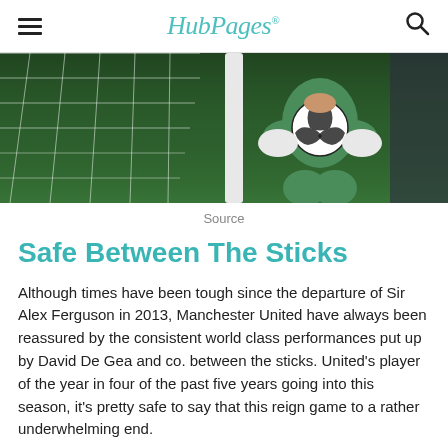HubPages
[Figure (photo): A goalkeeper kneeling on a grass pitch holding a football near the goal net, wearing green gloves and green kit. Night match setting.]
Source
Safe Between The Sticks
Although times have been tough since the departure of Sir Alex Ferguson in 2013, Manchester United have always been reassured by the consistent world class performances put up by David De Gea and co. between the sticks. United's player of the year in four of the past five years going into this season, it's pretty safe to say that this reign game to a rather underwhelming end.
For once this summer, United fans weren't subjected to